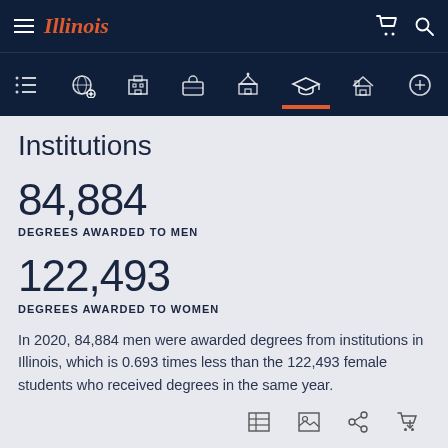Illinois
Institutions
84,884
DEGREES AWARDED TO MEN
122,493
DEGREES AWARDED TO WOMEN
In 2020, 84,884 men were awarded degrees from institutions in Illinois, which is 0.693 times less than the 122,493 female students who received degrees in the same year.
This chart displays the sex disparity between the top 5 institutions in Illinois by degrees awarded.